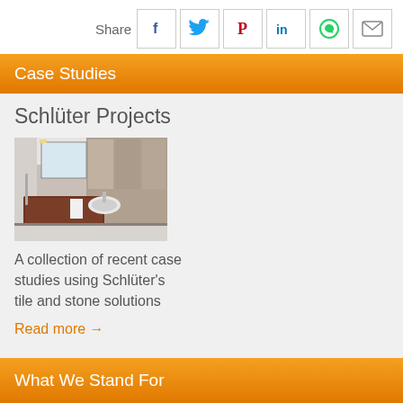Share
[Figure (infographic): Social share icons: Facebook (f), Twitter (bird), Pinterest (P), LinkedIn (in), WhatsApp (phone), Email (envelope)]
Case Studies
Schlüter Projects
[Figure (photo): Bathroom interior with dark wood vanity, white sink, mirror, and decorative tiled wall]
A collection of recent case studies using Schlüter's tile and stone solutions
Read more →
What We Stand For